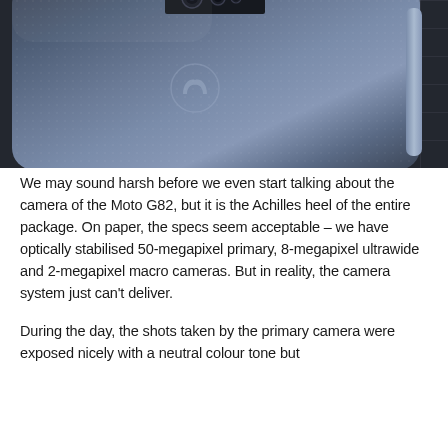[Figure (photo): Close-up photo of the back of a Motorola Moto G82 smartphone in blue/slate color, showing the textured back panel with dot pattern, the Motorola logo embossed on the back, and the camera module at the top. The phone is placed on a gridded surface.]
We may sound harsh before we even start talking about the camera of the Moto G82, but it is the Achilles heel of the entire package. On paper, the specs seem acceptable – we have optically stabilised 50-megapixel primary, 8-megapixel ultrawide and 2-megapixel macro cameras. But in reality, the camera system just can't deliver.
During the day, the shots taken by the primary camera were exposed nicely with a neutral colour tone but